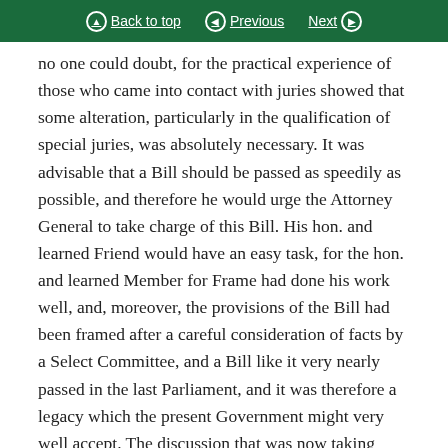Back to top | Previous | Next
no one could doubt, for the practical experience of those who came into contact with juries showed that some alteration, particularly in the qualification of special juries, was absolutely necessary. It was advisable that a Bill should be passed as speedily as possible, and therefore he would urge the Attorney General to take charge of this Bill. His hon. and learned Friend would have an easy task, for the hon. and learned Member for Frame had done his work well, and, moreover, the provisions of the Bill had been framed after a careful consideration of facts by a Select Committee, and a Bill like it very nearly passed in the last Parliament, and it was therefore a legacy which the present Government might very well accept. The discussion that was now taking place, however, would not be